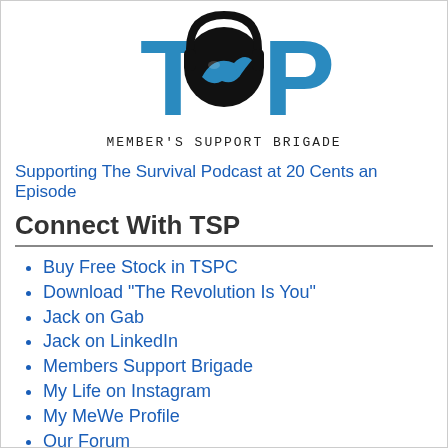[Figure (logo): TSP logo with headphones and 'Member's Support Brigade' tagline]
Supporting The Survival Podcast at 20 Cents an Episode
Connect With TSP
Buy Free Stock in TSPC
Download "The Revolution Is You"
Jack on Gab
Jack on LinkedIn
Members Support Brigade
My Life on Instagram
My MeWe Profile
Our Forum
Parley with me on Parler
RSS Feed
Subscribe on iTunes
Survival Podcast on Discord
YouTube